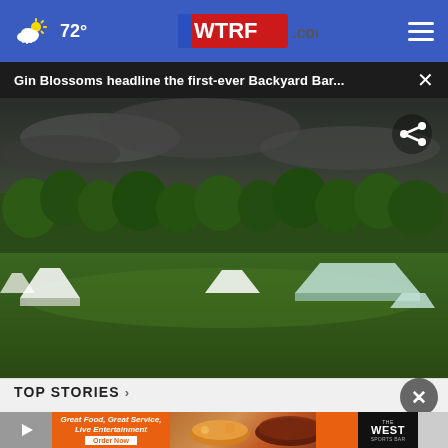72° WTRF.com
Gin Blossoms headline the first-ever Backyard Bar...
[Figure (photo): Wide outdoor field with white tents set up under a dark stormy sky, surrounded by green trees. Appears to be an event venue or festival grounds.]
TOP STORIES ›
[Figure (infographic): Advertisement banner for The West Sports Bar reading 'Great Food, Great Service, Live Entertainment' with an Order Now button, showing food photography including burger and steak.]